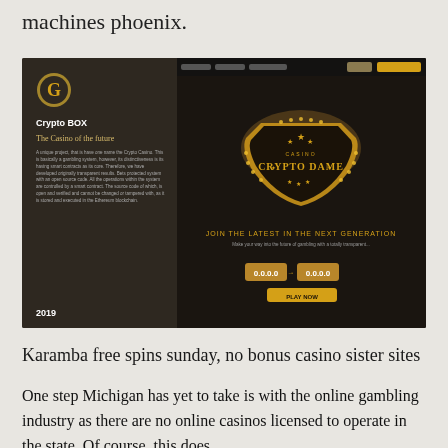machines phoenix.
[Figure (screenshot): Screenshot of Crypto BOX casino website with dark gold theme, showing logo, 'The Casino of the future' tagline, description text, year 2019, and a decorative casino badge on the right side]
Karamba free spins sunday, no bonus casino sister sites
One step Michigan has yet to take is with the online gambling industry as there are no online casinos licensed to operate in the state. Of course, this does